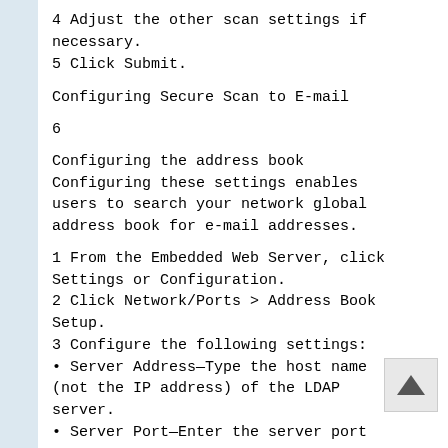4 Adjust the other scan settings if necessary.
5 Click Submit.
Configuring Secure Scan to E-mail
6
Configuring the address book Configuring these settings enables users to search your network global address book for e-mail addresses.
1 From the Embedded Web Server, click Settings or Configuration.
2 Click Network/Ports > Address Book Setup.
3 Configure the following settings:
• Server Address—Type the host name (not the IP address) of the LDAP server.
• Server Port—Enter the server port